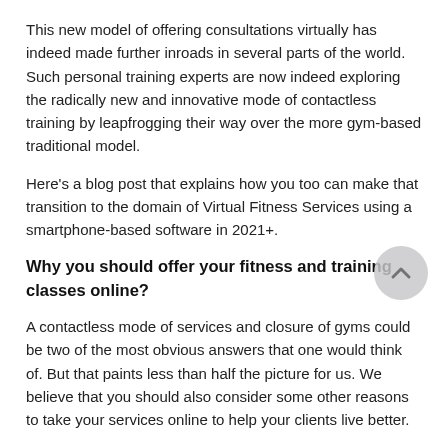This new model of offering consultations virtually has indeed made further inroads in several parts of the world. Such personal training experts are now indeed exploring the radically new and innovative mode of contactless training by leapfrogging their way over the more gym-based traditional model.
Here's a blog post that explains how you too can make that transition to the domain of Virtual Fitness Services using a smartphone-based software in 2021+.
Why you should offer your fitness and training classes online?
A contactless mode of services and closure of gyms could be two of the most obvious answers that one would think of. But that paints less than half the picture for us. We believe that you should also consider some other reasons to take your services online to help your clients live better.
Offering fitness and training classes through virtual media also has the following advantages: